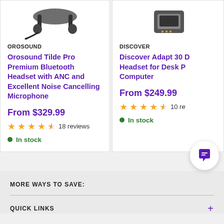[Figure (photo): Orosound Tilde Pro Bluetooth headset product photo (top portion, cropped)]
OROSOUND
Orosound Tilde Pro Premium Bluetooth Headset with ANC and Excellent Noise Cancelling Microphone
From $329.99
18 reviews
In stock
[Figure (photo): Discover Adapt 30 headset product photo (top portion, cropped, right side)]
DISCOVER
Discover Adapt 30 D Headset for Desk P Computer
From $249.99
10 re
In stock
MORE WAYS TO SAVE:
QUICK LINKS